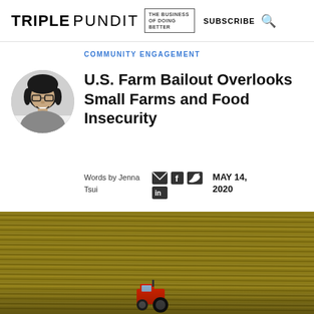TRIPLE PUNDIT { THE BUSINESS OF DOING BETTER } SUBSCRIBE 🔍
COMMUNITY ENGAGEMENT
[Figure (photo): Black and white circular headshot of Jenna Tsui, a young woman with glasses and dark hair, smiling]
U.S. Farm Bailout Overlooks Small Farms and Food Insecurity
Words by Jenna Tsui  MAY 14, 2020
[Figure (photo): Aerial photograph of golden crop rows in a farm field with a tractor visible at the bottom center]